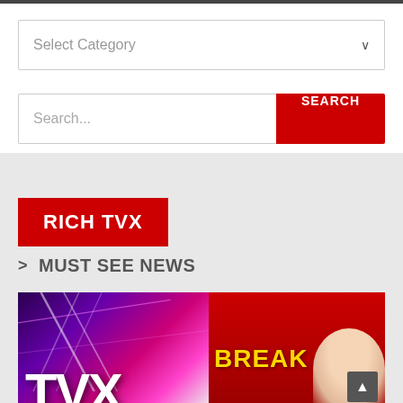[Figure (screenshot): Top navigation bar, dark gray strip]
Select Category
Search...
SEARCH
RICH TVX
> MUST SEE NEWS
[Figure (photo): Two images side by side: left shows TVX logo with purple/pink neon lighting, right shows breaking news red background with BREAK text in yellow and partial face]
[Figure (other): Back to top button, dark gray square with upward arrow]